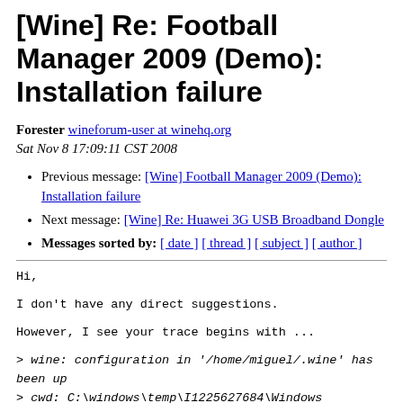[Wine] Re: Football Manager 2009 (Demo): Installation failure
Forester wineforum-user at winehq.org
Sat Nov 8 17:09:11 CST 2008
Previous message: [Wine] Football Manager 2009 (Demo): Installation failure
Next message: [Wine] Re: Huawei 3G USB Broadband Dongle
Messages sorted by: [ date ] [ thread ] [ subject ] [ author ]
Hi,
I don't have any direct suggestions.
However, I see your trace begins with ...
> wine: configuration in '/home/miguel/.wine' has been up
> cwd: C:\windows\temp\I1225627684\Windows